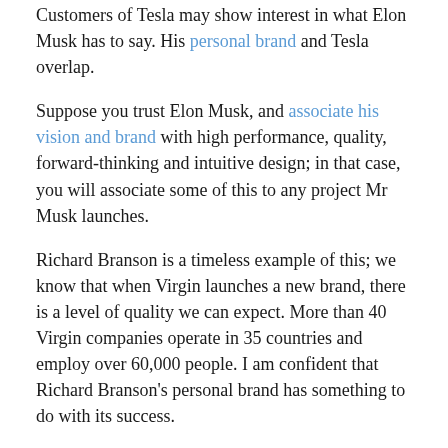Customers of Tesla may show interest in what Elon Musk has to say. His personal brand and Tesla overlap.
Suppose you trust Elon Musk, and associate his vision and brand with high performance, quality, forward-thinking and intuitive design; in that case, you will associate some of this to any project Mr Musk launches.
Richard Branson is a timeless example of this; we know that when Virgin launches a new brand, there is a level of quality we can expect. More than 40 Virgin companies operate in 35 countries and employ over 60,000 people. I am confident that Richard Branson's personal brand has something to do with its success.
Front and centre